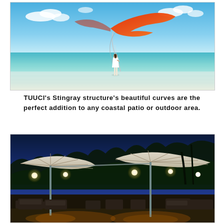[Figure (photo): A woman standing on a shallow tropical beach shoreline holding a large orange and red stingray-shaped kite structure flying above her. The background shows calm turquoise ocean water and a blue sky with white clouds.]
TUUCI's Stingray structure's beautiful curves are the perfect addition to any coastal patio or outdoor area.
[Figure (photo): A twilight/evening outdoor patio scene showing large commercial cantilever umbrellas with built-in globe lights illuminating the area. The umbrellas have a cream/white canopy stretched over metal ribs. Patio furniture including lounge chairs and tables are visible beneath. A tropical garden with palm trees is visible in the background under a deep blue evening sky.]